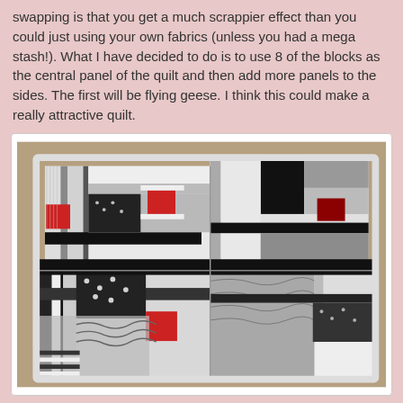swapping is that you get a much scrappier effect than you could just using your own fabrics (unless you had a mega stash!). What I have decided to do is to use 8 of the blocks as the central panel of the quilt and then add more panels to the sides. The first will be flying geese. I think this could make a really attractive quilt.
[Figure (photo): A quilt made of log cabin style blocks arranged in a 2x2 layout on a beige/tan carpet background. The quilt features black, white, grey, and red fabric pieces in patchwork patterns. Multiple blocks are visible with varied textures including polka dots, stripes, and geometric prints. Red accent squares appear in each block.]